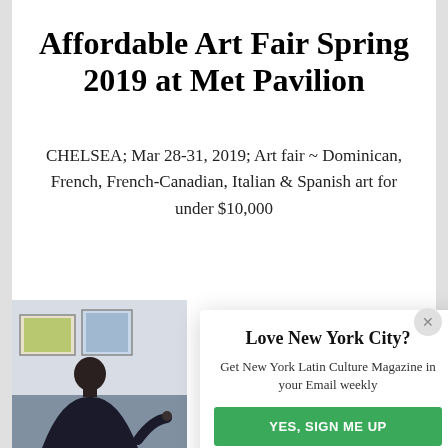Affordable Art Fair Spring 2019 at Met Pavilion
CHELSEA; Mar 28-31, 2019; Art fair ~ Dominican, French, French-Canadian, Italian & Spanish art for under $10,000
[Figure (photo): Person viewed from behind looking at artwork on a wall in an art fair gallery]
Love New York City?
Get New York Latin Culture Magazine in your Email weekly
YES, SIGN ME UP
NO THANKS